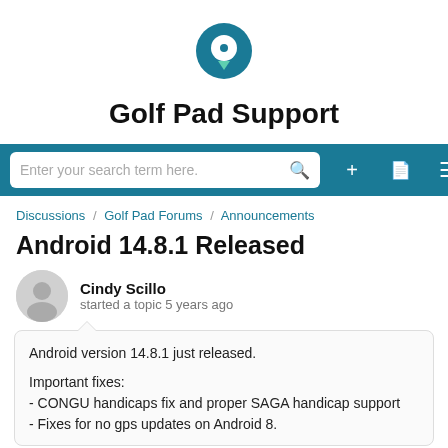[Figure (logo): Golf Pad Support logo: teal circle with white golf ball and tee icon below]
Golf Pad Support
[Figure (screenshot): Navigation bar with search box 'Enter your search term here.' and icons for add, document, and menu]
Discussions / Golf Pad Forums / Announcements
Android 14.8.1 Released
Cindy Scillo
started a topic 5 years ago
Android version 14.8.1 just released.

Important fixes:
- CONGU handicaps fix and proper SAGA handicap support
- Fixes for no gps updates on Android 8.